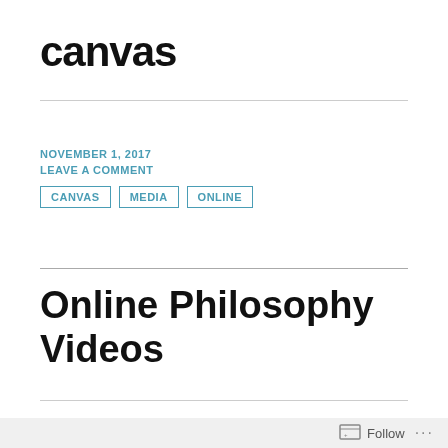canvas
NOVEMBER 1, 2017
LEAVE A COMMENT
CANVAS   MEDIA   ONLINE
Online Philosophy Videos
[Figure (photo): Decorative image strip with teal/turquoise background and illustrated figures, partially visible at bottom of page]